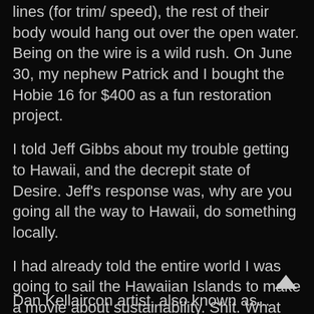lines (for trim/ speed), the rest of their body would hang out over the open water. Being on the wire is a wild rush. On June 30, my nephew Patrick and I bought the Hobie 16 for $400 as a fun restoration project.
I told Jeff Gibbs about my trouble getting to Hawaii, and the decrepit state of Desire. Jeff's response was, why are you going all the way to Hawaii, do something locally.
I had already told the entire world I was going to sail the Hawaiian Islands to make a movie about sustainability. Shit. What could I do locally that was even nearly as epic? I remember looking out in the driveway, and noticing I had a 16 foot Hobie Cat sitting on a trailer there.
On 07/01, I announced Around Lake Michigan via the ondesire.com blog.
Dan Kell aircon artist, also known as...